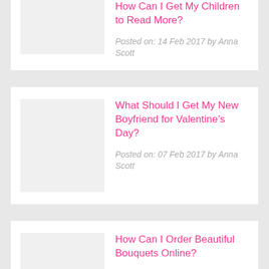How Can I Get My Children to Read More?
Posted on: 14 Feb 2017 by Anna Scott
What Should I Get My New Boyfriend for Valentine’s Day?
Posted on: 07 Feb 2017 by Anna Scott
How Can I Order Beautiful Bouquets Online?
Posted on: 02 Feb 2017 by Anna